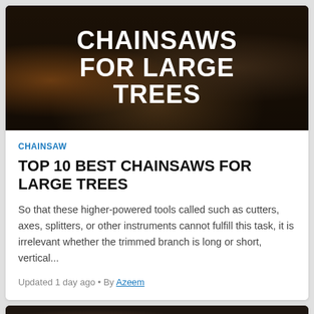[Figure (photo): Dark hero image with chainsaw-related items (Oregon branded accessories, wood logs) and bold white text overlay reading CHAINSAWS FOR LARGE TREES]
CHAINSAW
TOP 10 BEST CHAINSAWS FOR LARGE TREES
So that these higher-powered tools called such as cutters, axes, splitters, or other instruments cannot fulfill this task, it is irrelevant whether the trimmed branch is long or short, vertical...
Updated 1 day ago • By Azeem
[Figure (photo): Dark hero image showing chainsaw in use, with bold white text overlay reading BEST (partially visible)]